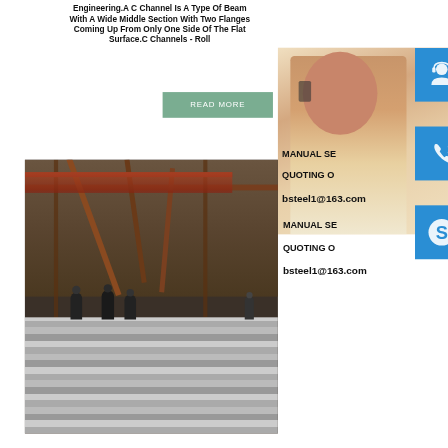Engineering.A C Channel Is A Type Of Beam With A Wide Middle Section With Two Flanges Coming Up From Only One Side Of The Flat Surface.C Channels - Roll
[Figure (photo): READ MORE button (green/teal rectangle with white text)]
[Figure (photo): Portrait photo of a smiling Asian woman wearing a headset, with blue icon buttons for headset, phone, and Skype overlaid on the right side]
MANUAL SE
QUOTING O
bsteel1@163.com
[Figure (photo): Industrial factory interior photo showing steel beams, overhead crane structure, and stacked steel plates/sheets with workers visible]